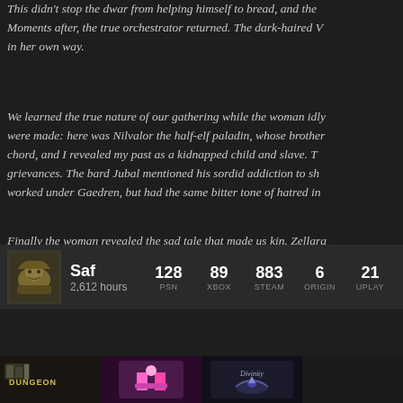This didn't stop the dwarfrom helping himself to bread, and the... Moments after, the true orchestrator returned. The dark-haired V... in her own way.
We learned the true nature of our gathering while the woman idly... were made: here was Nilvalor the half-elf paladin, whose brother... chord, and I revealed my past as a kidnapped child and slave. T... grievances. The bard Jubal mentioned his sordid addiction to sh... worked under Gaedren, but had the same bitter tone of hatred in...
Finally the woman revealed the sad tale that made us kin. Zellara... would do her harm. He had stolen her harrow deck and in retriev... had been murdered.
The Korvosan Guard was useless, but through inquiries and the... Gaedren dwelt in a nearby fishery, training children for miserable...
Before waiting for agreements, she began to perform a harrowin... Gaedren and bringing him to justice with our own hands...
| User | Hours | PSN | XBOX | STEAM | ORIGIN | UPLAY |
| --- | --- | --- | --- | --- | --- | --- |
| Saf | 2,612 hours | 128 | 89 | 883 | 6 | 21 |
[Figure (screenshot): Bottom thumbnail bar showing game thumbnails: Dungeon, pink game, Divinity]